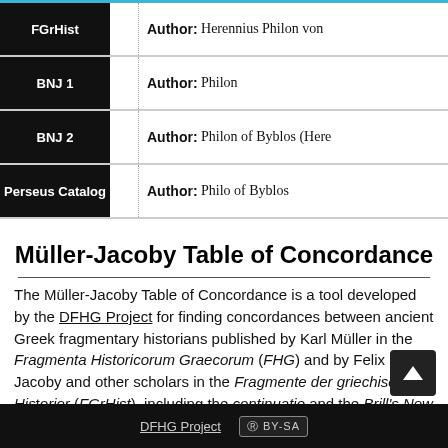| Source |  | Entry |
| --- | --- | --- |
| FGrHist |  | Author: Herennius Philon von… |
| BNJ 1 |  | Author: Philon |
| BNJ 2 |  | Author: Philon of Byblos (Here… |
| Perseus Catalog |  | Author: Philo of Byblos |
Müller-Jacoby Table of Concordance
The Müller-Jacoby Table of Concordance is a tool developed by the DFHG Project for finding concordances between ancient Greek fragmentary historians published by Karl Müller in the Fragmenta Historicorum Graecorum (FHG) and by Felix Jacoby and other scholars in the Fragmente der griechischen Historiker (FGrHist), including the continuatio and the Brill's New Jacoby
DFHG Project  (cc) BY-SA